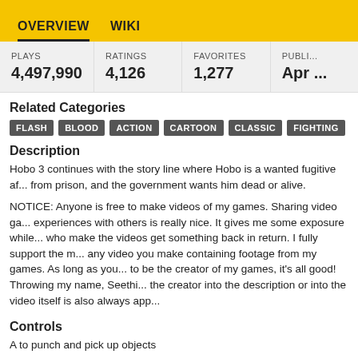OVERVIEW   WIKI
| PLAYS | RATINGS | FAVORITES | PUBLI... |
| --- | --- | --- | --- |
| 4,497,990 | 4,126 | 1,277 | Apr ... |
Related Categories
FLASH   BLOOD   ACTION   CARTOON   CLASSIC   FIGHTING
Description
Hobo 3 continues with the story line where Hobo is a wanted fugitive af... from prison, and the government wants him dead or alive.
NOTICE: Anyone is free to make videos of my games. Sharing video ga... experiences with others is really nice. It gives me some exposure while... who make the videos get something back in return. I fully support the m... any video you make containing footage from my games. As long as you... to be the creator of my games, it's all good! Throwing my name, Seethi... the creator into the description or into the video itself is also always app...
Controls
A to punch and pick up objects
S for kicks and stuff